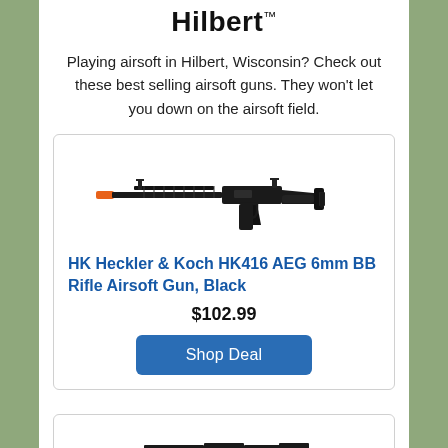Hilbert™
Playing airsoft in Hilbert, Wisconsin? Check out these best selling airsoft guns. They won't let you down on the airsoft field.
[Figure (photo): Product photo of HK Heckler & Koch HK416 AEG 6mm BB Rifle Airsoft Gun in black with orange tip on the muzzle]
HK Heckler & Koch HK416 AEG 6mm BB Rifle Airsoft Gun, Black
$102.99
Shop Deal
[Figure (photo): Partially visible product photo of a second airsoft gun at the bottom of the page]